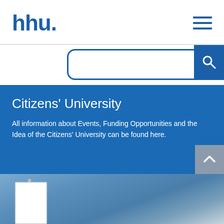hhu.
[Figure (screenshot): HHU university website screenshot showing logo, hamburger menu, search bar with blue rounded border and search icon, hero section with Citizens' University heading, descriptive text, back-to-top button, and bottom photo of a sign against blue sky]
Citizens' University
All information about Events, Funding Opportunities and the Idea of the Citizens' University can be found here.